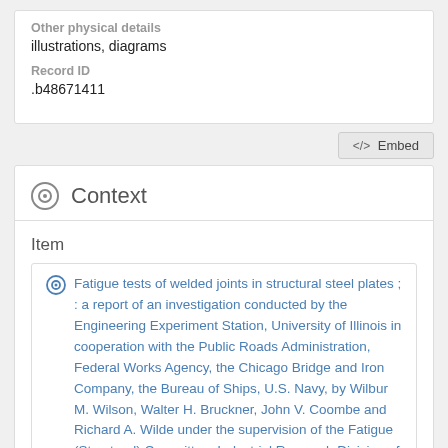Other physical details
illustrations, diagrams
Record ID
.b48671411
</> Embed
Context
Item
Fatigue tests of welded joints in structural steel plates ; : a report of an investigation conducted by the Engineering Experiment Station, University of Illinois in cooperation with the Public Roads Administration, Federal Works Agency, the Chicago Bridge and Iron Company, the Bureau of Ships, U.S. Navy, by Wilbur M. Wilson, Walter H. Bruckner, John V. Coombe and Richard A. Wilde under the supervision of the Fatigue (Structural) Committee, Industrial Research Division of